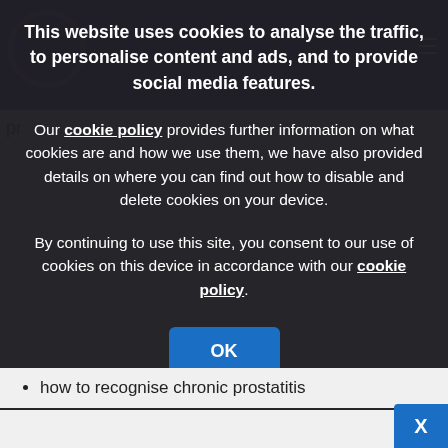This website uses cookies to analyse the traffic, to personalise content and ads, and to provide social media features.
Our cookie policy provides further information on what cookies are and how we use them, we have also provided details on where you can find out how to disable and delete cookies on your device.
By continuing to use this site, you consent to our use of cookies on this device in accordance with our cookie policy.
how to recognise chronic prostatitis